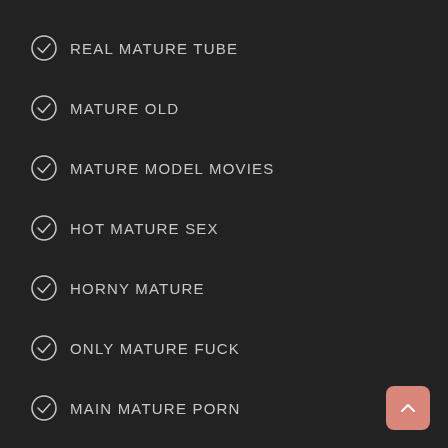REAL MATURE TUBE
MATURE OLD
MATURE MODEL MOVIES
HOT MATURE SEX
HORNY MATURE
ONLY MATURE FUCK
MAIN MATURE PORN
OLD LADY ASS
FAT OLD SLUTS